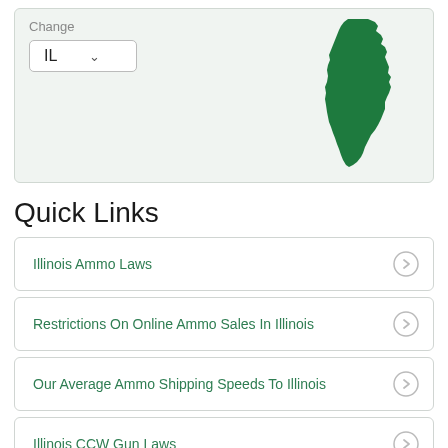[Figure (map): State selector widget showing 'Change' label with IL dropdown and green Illinois state silhouette map on the right]
Quick Links
Illinois Ammo Laws
Restrictions On Online Ammo Sales In Illinois
Our Average Ammo Shipping Speeds To Illinois
Illinois CCW Gun Laws
Illinois FFL Dealers
Federal Representatives From Illinois